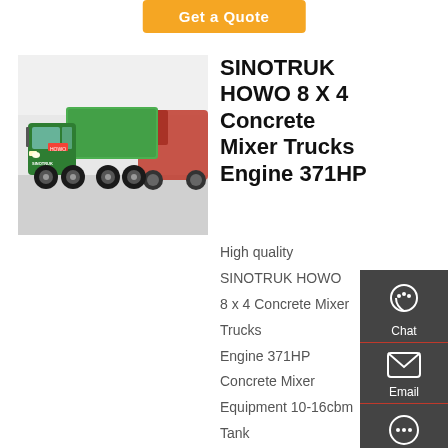Get a Quote
[Figure (photo): Green SINOTRUK HOWO dump truck with red truck in background at an exhibition]
SINOTRUK HOWO 8 X 4 Concrete Mixer Trucks Engine 371HP
High quality SINOTRUK HOWO 8 x 4 Concrete Mixer Trucks Engine 371HP Concrete Mixer Equipment 10-16cbm Tank volume from China, China's leading concrete truck mixer product, with strict quality control cement transport trucks factories, producing high quality